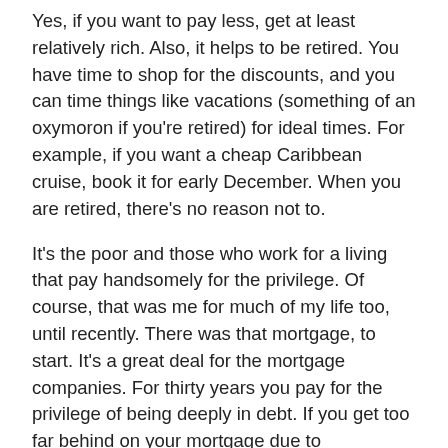Yes, if you want to pay less, get at least relatively rich. Also, it helps to be retired. You have time to shop for the discounts, and you can time things like vacations (something of an oxymoron if you're retired) for ideal times. For example, if you want a cheap Caribbean cruise, book it for early December. When you are retired, there's no reason not to.
It's the poor and those who work for a living that pay handsomely for the privilege. Of course, that was me for much of my life too, until recently. There was that mortgage, to start. It's a great deal for the mortgage companies. For thirty years you pay for the privilege of being deeply in debt. If you get too far behind on your mortgage due to circumstances you probably can't control, like losing your job, the bank will be happy to repossess your house. Maybe you'll get some equity back after they sell it, but you sure won't have a house bought and paid for. At best, you get to start the whole cycle again.
So it goes with much of life's necessities: car loans, home improvements and college education for the kids. Neglecting fixing infrastructure to save money only does the opposite in the long run. Live within your means, our betters tell us. Only it's not